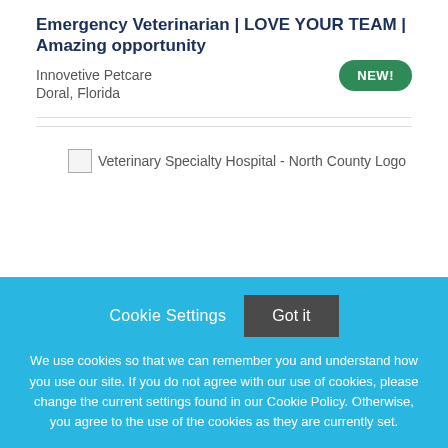Emergency Veterinarian | LOVE YOUR TEAM | Amazing opportunity
Innovetive Petcare
Doral, Florida
NEW!
[Figure (logo): Veterinary Specialty Hospital - North County Logo placeholder image]
Cookie Settings
Got it
We use cookies so that we can remember you and understand how you use our site. If you do not agree with our use of cookies, please change the current settings found in our Cookie Policy. Otherwise, you agree to the use of the cookies as they are currently set.